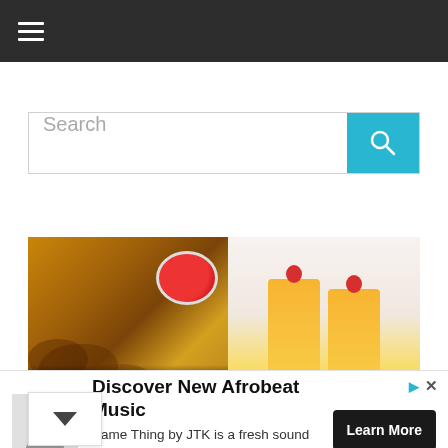☰ (hamburger menu)
Search
[Figure (photo): Food images: fried chicken with sauce bowl on the left, and two glasses of orange juice with cherry garnish on the right. Text overlay reads: 'Fried Chicken: How to e Tasty Fried Chicken']
Fried Chicken: How to e Tasty Fried Chicken
Discover New Afrobeat Music
Same Thing by JTK is a fresh sound of afrobeat & rap music from Canada and by a Nigerian JTK
Learn More